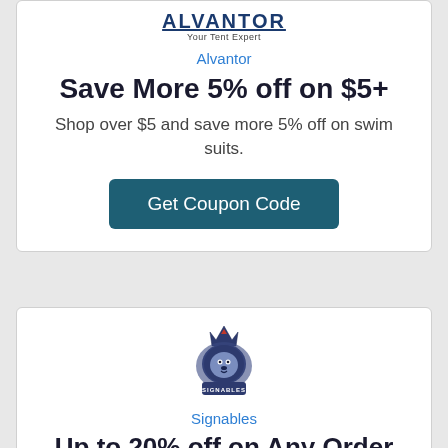[Figure (logo): Alvantor logo with text 'Alvantor Your Tent Expert']
Alvantor
Save More 5% off on $5+
Shop over $5 and save more 5% off on swim suits.
Get Coupon Code
[Figure (logo): Signables lion mascot logo with crown]
Signables
Up to 20% off on Any Order
Flash sale! Up to 20% discount on entire